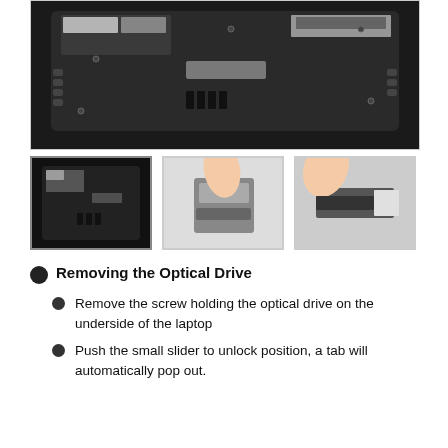[Figure (photo): Bottom view of a laptop showing the underside with battery, screws, vents, and labels on a white background.]
[Figure (photo): Three thumbnail images: (1) bottom of laptop, (2) fingers sliding a component on the laptop, (3) fingers pulling out an optical drive from the side of the laptop.]
Removing the Optical Drive
Remove the screw holding the optical drive on the underside of the laptop
Push the small slider to unlock position, a tab will automatically pop out.